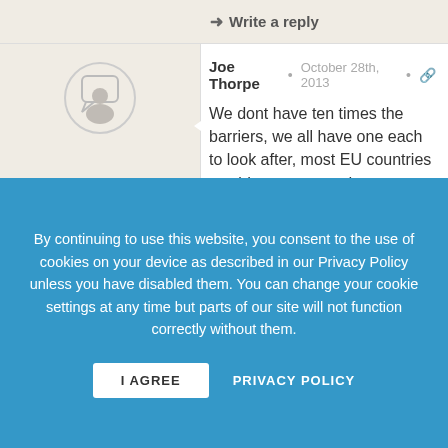→ Write a reply
Joe Thorpe • October 28th, 2013 • 🔗
We dont have ten times the barriers, we all have one each to look after, most EU countries would sooner spend money on social issues & getting re-elected than do the unpopular things like spend money on something the public can't see like defense, intelligence gathering & cyber capabilities. GCHQ wasnt given to us, we didnt find it under a mushroom no one pays for our global network of embassies & consuls that keep the country informed & those countries as a
By continuing to use this website, you consent to the use of cookies on your device as described in our Privacy Policy unless you have disabled them. You can change your cookie settings at any time but parts of our site will not function correctly without them.
I AGREE
PRIVACY POLICY